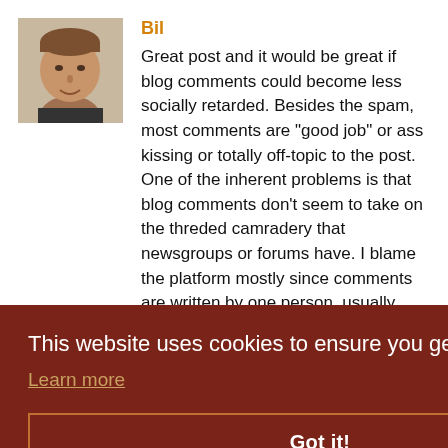[Figure (photo): Avatar photo of a man with short hair, light skin, wearing a dark shirt, informal portrait cropped to head and shoulders.]
Bil
Great post and it would be great if blog comments could become less socially retarded. Besides the spam, most comments are "good job" or ass kissing or totally off-topic to the post. One of the inherent problems is that blog comments don't seem to take on the threded camradery that newsgroups or forums have. I blame the platform mostly since comments are written by one person, usually without contetxt like quoting or replying to a comment (except the moderator) so get lost in a
[Figure (other): Cookie consent banner overlay with dark brown/maroon background. Contains text: 'This website uses cookies to ensure you get the best experience on our website.' with a 'Learn more' link and a 'Got it!' button with an orange border.]
Something more like a StackOverflow/Facebook system is needed for blogs where you can a)